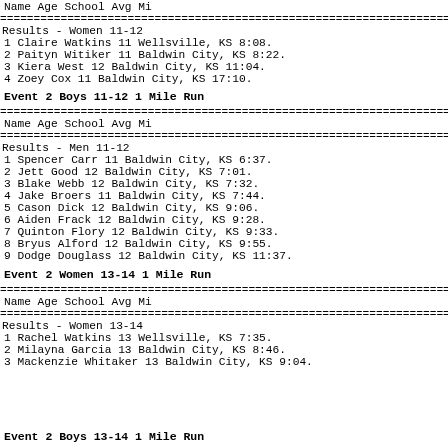| Name | Age | School | Avg Mi |
| --- | --- | --- | --- |
| 1 Claire Watkins | 11 | Wellsville, KS | 8:08. |
| 2 Paityn Witiker | 11 | Baldwin City, KS | 8:22. |
| 3 Kiera West | 12 | Baldwin City, KS | 11:04. |
| 4 Zoey Cox | 11 | Baldwin City, KS | 17:10. |
Event 2  Boys 11-12 1 Mile Run
| Name | Age | School | Avg Mi |
| --- | --- | --- | --- |
| 1 Spencer Carr | 11 | Baldwin City, KS | 6:37. |
| 2 Jett Good | 12 | Baldwin City, KS | 7:01. |
| 3 Blake Webb | 12 | Baldwin City, KS | 7:32. |
| 4 Jake Broers | 11 | Baldwin City, KS | 7:44. |
| 5 Cason Dick | 12 | Baldwin City, KS | 9:06. |
| 6 Aiden Frack | 12 | Baldwin City, KS | 9:28. |
| 7 Quinton Flory | 12 | Baldwin City, KS | 9:33. |
| 8 Bryus Alford | 12 | Baldwin City, KS | 9:55. |
| 9 Dodge Douglass | 12 | Baldwin City, KS | 11:37. |
Event 2  Women 13-14 1 Mile Run
| Name | Age | School | Avg Mi |
| --- | --- | --- | --- |
| 1 Rachel Watkins | 13 | Wellsville, KS | 7:35. |
| 2 Milayna Garcia | 13 | Baldwin City, KS | 8:46. |
| 3 Mackenzie Whitaker | 13 | Baldwin City, KS | 9:04. |